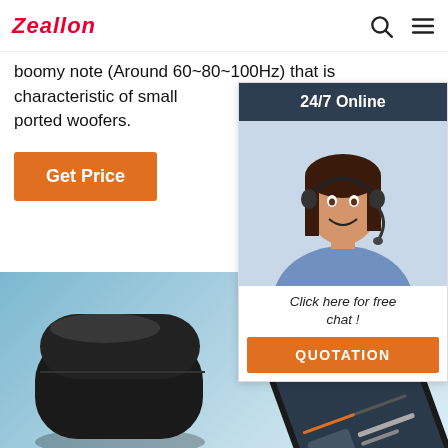Zeallon
boomy note (Around 60~80~100Hz) that is characteristic of small ported woofers.
Get Price
[Figure (photo): Customer service representative woman wearing headset, with '24/7 Online' header, 'Click here for free chat!' text, and QUOTATION orange button]
[Figure (photo): Product photo showing black TWS earbuds charging case and a smartphone on a blue background]